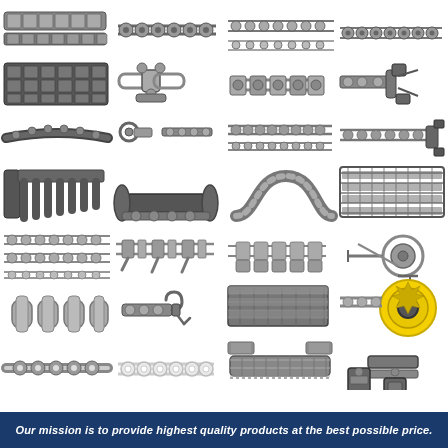[Figure (photo): Grid of industrial chain and conveyor component product photos arranged in 7 rows of 4 columns, showing various roller chains, conveyor chains, attachments, and mechanical components]
Our mission is to provide highest quality products at the best possible price.